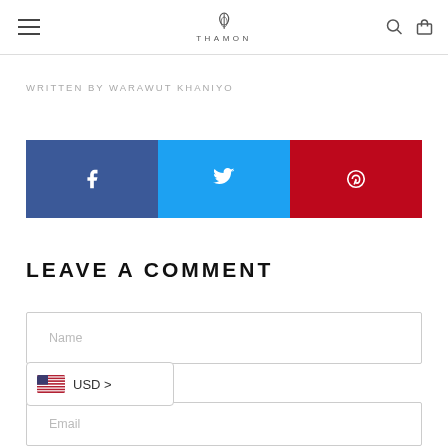THAMON
WRITTEN BY WARAWUT KHANIYO
[Figure (infographic): Social share bar with three buttons: Facebook (blue), Twitter (cyan), Pinterest (red), each with white icon]
LEAVE A COMMENT
Name
USD >
Email